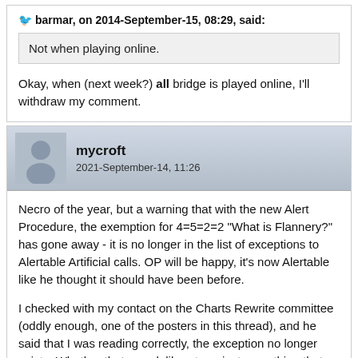barmar, on 2014-September-15, 08:29, said:
Not when playing online.
Okay, when (next week?) all bridge is played online, I'll withdraw my comment.
mycroft
2021-September-14, 11:26
Necro of the year, but a warning that with the new Alert Procedure, the exemption for 4=5=2=2 "What is Flannery?" has gone away - it is no longer in the list of exceptions to Alertable Artificial calls. OP will be happy, it's now Alertable like he thought it should have been before.
I checked with my contact on the Charts Rewrite committee (oddly enough, one of the posters in this thread), and he said that I was reading correctly, the exception no longer exists. Whether that was deliberate or just something that fell out I didn't ask.
So, one more thing to add to my "changes you might not expect" list